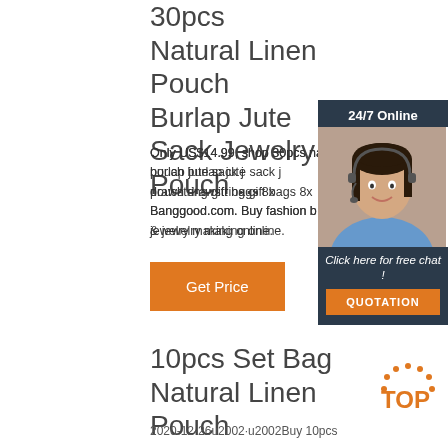30pcs Natural Linen Pouch Burlap Jute Sack Jewelry Pouch ...
Only US$14.99, shop 30pcs natural linen pouch burlap jute sack j... pouch drawstring gift bags 8x... Banggood.com. Buy fashion b... & jewelry making online.
[Figure (other): Customer service chat widget with 24/7 Online header, photo of woman with headset, Click here for free chat text, and QUOTATION button]
Get Price
10pcs Set Bag Natural Linen Pouch Drawstring Burlap Jute ...
2020-12-26u2002·u2002Buy 10pcs